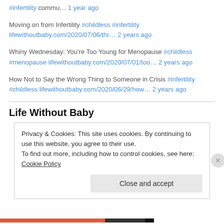#infertility commu… 1 year ago
Moving on from Infertility #childless #infertility lifewithoutbaby.com/2020/07/06/thr… 2 years ago
Whiny Wednesday: You're Too Young for Menopause #childless #menopause lifewithoutbaby.com/2020/07/01/too… 2 years ago
How Not to Say the Wrong Thing to Someone in Crisis #infertility #childless lifewithoutbaby.com/2020/06/29/how… 2 years ago
Life Without Baby
Privacy & Cookies: This site uses cookies. By continuing to use this website, you agree to their use.
To find out more, including how to control cookies, see here: Cookie Policy
Close and accept